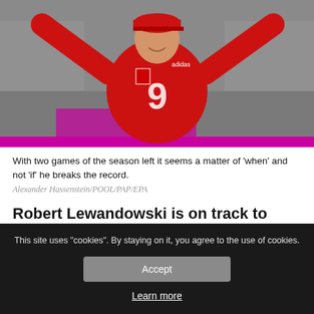[Figure (photo): Robert Lewandowski in red Bayern Munich jersey with number 9, arms raised in celebration, wearing a red cap, stadium seats in background]
With two games of the season left it seems a matter of 'when' and not 'if' he breaks the record.
Alexander Hassenstein/POOL/PAP/EPA
Robert Lewandowski is on track to breaking record
This site uses "cookies". By staying on it, you agree to the use of cookies.
Accept
Learn more